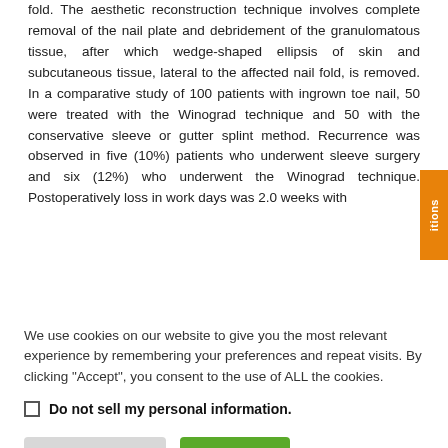fold. The aesthetic reconstruction technique involves complete removal of the nail plate and debridement of the granulomatous tissue, after which wedge-shaped ellipsis of skin and subcutaneous tissue, lateral to the affected nail fold, is removed. In a comparative study of 100 patients with ingrown toe nail, 50 were treated with the Winograd technique and 50 with the conservative sleeve or gutter splint method. Recurrence was observed in five (10%) patients who underwent sleeve surgery and six (12%) who underwent the Winograd technique. Postoperatively loss in work days was 2.0 weeks with
We use cookies on our website to give you the most relevant experience by remembering your preferences and repeat visits. By clicking "Accept", you consent to the use of ALL the cookies.
Do not sell my personal information.
Cookie Settings | Accept